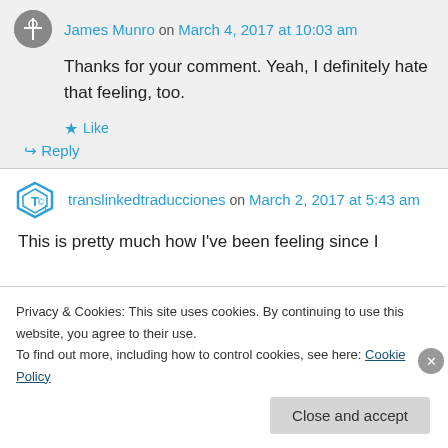James Munro on March 4, 2017 at 10:03 am
Thanks for your comment. Yeah, I definitely hate that feeling, too.
Like
Reply
translinkedtraducciones on March 2, 2017 at 5:43 am
This is pretty much how I've been feeling since I
Privacy & Cookies: This site uses cookies. By continuing to use this website, you agree to their use.
To find out more, including how to control cookies, see here: Cookie Policy
Close and accept